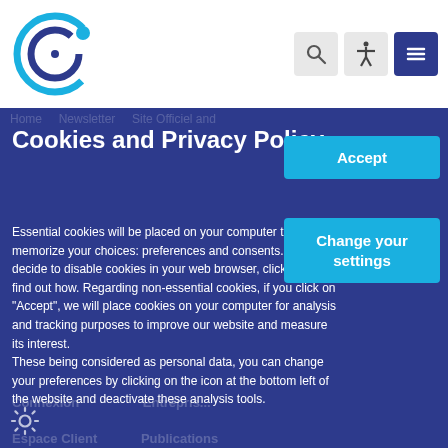[Figure (logo): Circular logo with blue ring and dot icon (COD or similar organization logo)]
Cookies and Privacy Policy
Essential cookies will be placed on your computer to memorize your choices: preferences and consents. You can decide to disable cookies in your web browser, click here to find out how. Regarding non-essential cookies, if you click on "Accept", we will place cookies on your computer for analysis and tracking purposes to improve our website and measure its interest.
These being considered as personal data, you can change your preferences by clicking on the icon at the bottom left of the website and deactivate these analysis tools.
Accept
Change your settings